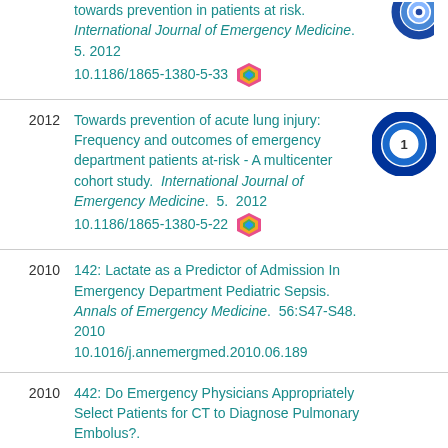towards prevention in patients at risk. International Journal of Emergency Medicine. 5. 2012 10.1186/1865-1380-5-33
2012 Towards prevention of acute lung injury: Frequency and outcomes of emergency department patients at-risk - A multicenter cohort study. International Journal of Emergency Medicine. 5. 2012 10.1186/1865-1380-5-22
2010 142: Lactate as a Predictor of Admission In Emergency Department Pediatric Sepsis. Annals of Emergency Medicine. 56:S47-S48. 2010 10.1016/j.annemergmed.2010.06.189
2010 442: Do Emergency Physicians Appropriately Select Patients for CT to Diagnose Pulmonary Embolus?.